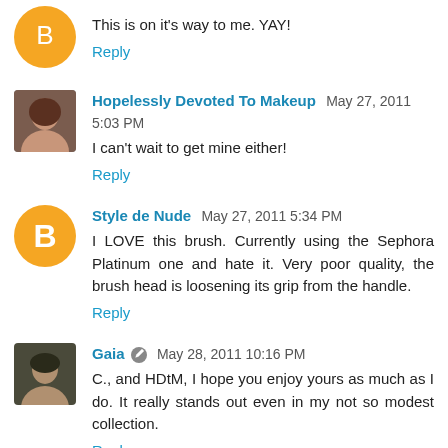This is on it's way to me. YAY!
Reply
Hopelessly Devoted To Makeup May 27, 2011 5:03 PM
I can't wait to get mine either!
Reply
Style de Nude May 27, 2011 5:34 PM
I LOVE this brush. Currently using the Sephora Platinum one and hate it. Very poor quality, the brush head is loosening its grip from the handle.
Reply
Gaia May 28, 2011 10:16 PM
C., and HDtM, I hope you enjoy yours as much as I do. It really stands out even in my not so modest collection.
Reply